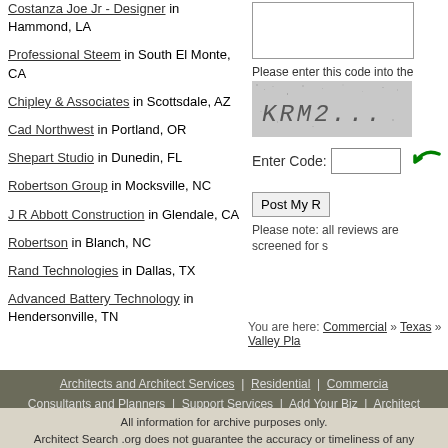Costanza Joe Jr - Designer in Hammond, LA
Professional Steem in South El Monte, CA
Chipley & Associates in Scottsdale, AZ
Cad Northwest in Portland, OR
Shepart Studio in Dunedin, FL
Robertson Group in Mocksville, NC
J R Abbott Construction in Glendale, CA
Robertson in Blanch, NC
Rand Technologies in Dallas, TX
Advanced Battery Technology in Hendersonville, TN
[Figure (screenshot): CAPTCHA code image showing KRM2... text on speckled background]
Please enter this code into the box below:
Enter Code:
Post My [Review]
Please note: all reviews are screened for s...
You are here: Commercial » Texas » Valley Pla...
Architects and Architect Services | Residential | Commercial | Consultants and Planners | Support Services | Add Your Biz | Architect
All information for archive purposes only. Architect Search .org does not guarantee the accuracy or timeliness of any information on this site. Use at your own risk.